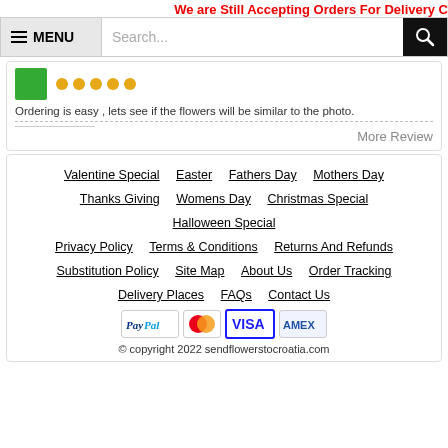We are Still Accepting Orders For Delivery C
[Figure (screenshot): Navigation bar with hamburger menu icon, MENU label, search input field, and black search button with magnifying glass icon]
[Figure (screenshot): Review card showing green avatar, orange star rating icons, review text: Ordering is easy , lets see if the flowers will be similar to the photo.]
Ordering is easy , lets see if the flowers will be similar to the photo.
More Review
Valentine Special
Easter
Fathers Day
Mothers Day
Thanks Giving
Womens Day
Christmas Special
Halloween Special
Privacy Policy
Terms & Conditions
Returns And Refunds
Substitution Policy
Site Map
About Us
Order Tracking
Delivery Places
FAQs
Contact Us
[Figure (logo): PayPal, MasterCard, Visa, and American Express payment icons]
© copyright 2022 sendflowerstocroatia.com